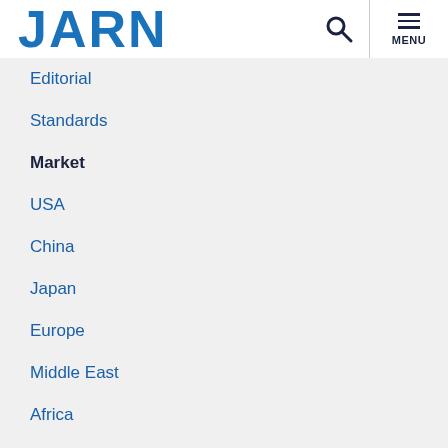JARN
Editorial
Standards
Market
USA
China
Japan
Europe
Middle East
Africa
India
Indonesia
Vietnam
Oceania
Other Asia
Latin America